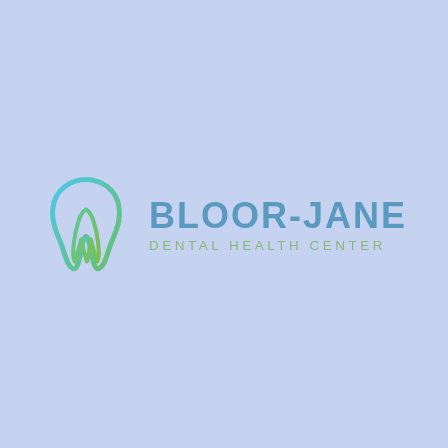[Figure (logo): Bloor-Jane Dental Health Center logo. A stylized tooth icon with a gradient outline (cyan/blue on the left, green on the right) and a green tooth root shape inside, next to bold blue-grey text 'BLOOR-JANE' and smaller green text 'DENTAL HEALTH CENTER', on a light periwinkle blue background.]